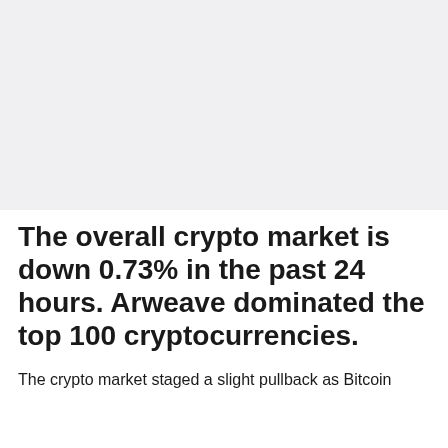[Figure (photo): Light gray rectangular image placeholder area at the top of the page]
The overall crypto market is down 0.73% in the past 24 hours. Arweave dominated the top 100 cryptocurrencies.
The crypto market staged a slight pullback as Bitcoin